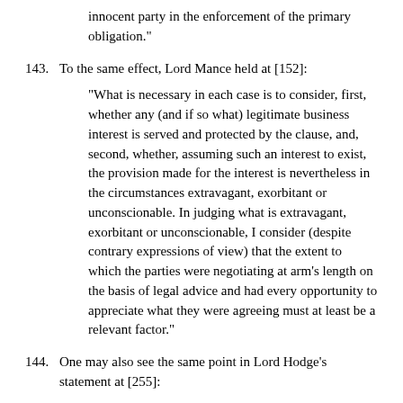innocent party in the enforcement of the primary obligation."
143. To the same effect, Lord Mance held at [152]:
"What is necessary in each case is to consider, first, whether any (and if so what) legitimate business interest is served and protected by the clause, and, second, whether, assuming such an interest to exist, the provision made for the interest is nevertheless in the circumstances extravagant, exorbitant or unconscionable. In judging what is extravagant, exorbitant or unconscionable, I consider (despite contrary expressions of view) that the extent to which the parties were negotiating at arm's length on the basis of legal advice and had every opportunity to appreciate what they were agreeing must at least be a relevant factor."
144. One may also see the same point in Lord Hodge's statement at [255]:
"[T]he correct test for a penalty is whether the sum or remedy stipulated as a consequence of a breach of contract is exorbitant or